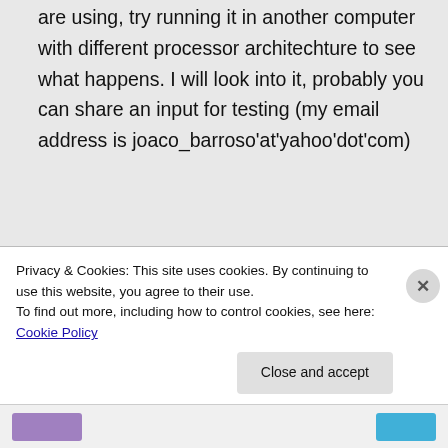are using, try running it in another computer with different processor architechture to see what happens. I will look into it, probably you can share an input for testing (my email address is joaco_barroso'at'yahoo'dot'com)
2) This has to do with standard and input orientations, the program uses whatever it suits best for the computation. There should be an IOp to control whether to always use one or the other but I don't
Privacy & Cookies: This site uses cookies. By continuing to use this website, you agree to their use.
To find out more, including how to control cookies, see here: Cookie Policy